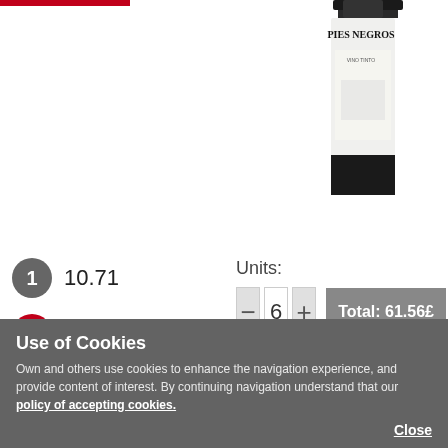[Figure (photo): Wine bottle labeled PIES NEGROS, partially cropped at top right of page]
1  10.71
6  10.26
Units:
- 6 + Total: 61.56£
ADD
Description
Use of Cookies
Own and others use cookies to enhance the navigation experience, and provide content of interest. By continuing navigation understand that our policy of accepting cookies.
Close